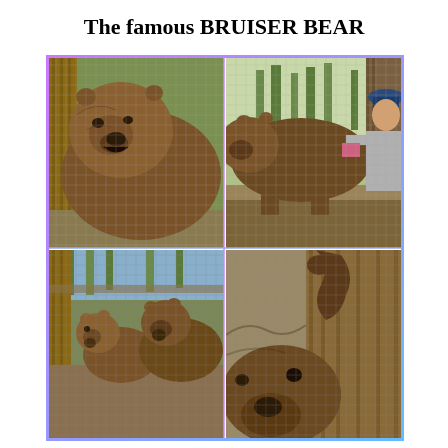The famous BRUISER BEAR
[Figure (photo): A 2x2 grid of four photographs of Bruiser Bear (a grizzly/brown bear) in an enclosure with chain-link fencing. Top-left: close-up of the bear facing the camera with mouth open. Top-right: side view of the bear in the enclosure with a person visible on the right. Bottom-left: two bears (possibly a cub and adult) inside the enclosure. Bottom-right: close-up of a bear's face near the fence.]